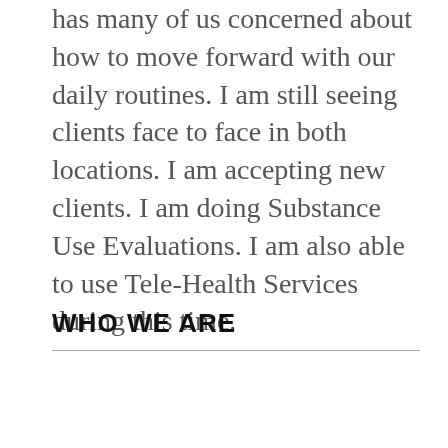has many of us concerned about how to move forward with our daily routines.  I am still seeing clients face to face in both locations.  I am accepting new clients.  I am doing Substance Use Evaluations.  I  am also able to use Tele-Health  Services during this time.
WHO WE ARE